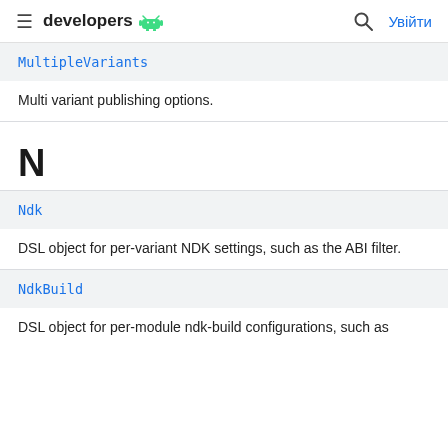developers
MultipleVariants
Multi variant publishing options.
N
Ndk
DSL object for per-variant NDK settings, such as the ABI filter.
NdkBuild
DSL object for per-module ndk-build configurations, such as